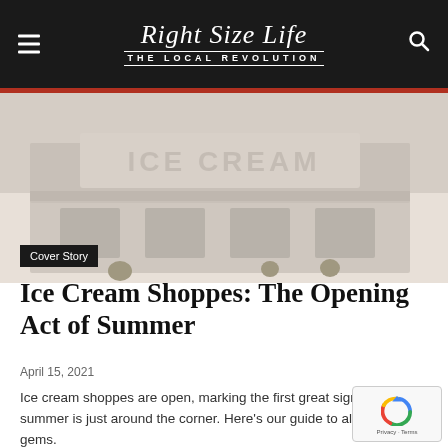Right Size Life — THE LOCAL REVOLUTION
[Figure (photo): Faded photo of an ice cream shop exterior with a sign reading ICE CREAM]
Cover Story
Ice Cream Shoppes: The Opening Act of Summer
April 15, 2021
Ice cream shoppes are open, marking the first great sign that summer is just around the corner. Here's our guide to all the local gems.